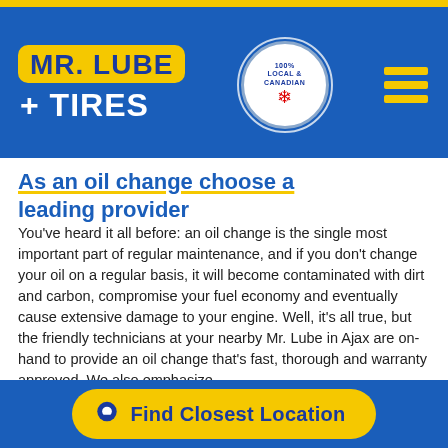[Figure (logo): Mr. Lube + Tires logo with yellow rounded rectangle containing blue text 'MR. LUBE' and white text '+ TIRES' below, on blue header background]
[Figure (logo): 100% Local & Canadian circular badge with blue text and red maple leaf]
[Figure (illustration): Hamburger menu icon with three yellow horizontal bars on blue background]
As an oil change choose a leading provider
You've heard it all before: an oil change is the single most important part of regular maintenance, and if you don't change your oil on a regular basis, it will become contaminated with dirt and carbon, compromise your fuel economy and eventually cause extensive damage to your engine. Well, it's all true, but the friendly technicians at your nearby Mr. Lube in Ajax are on-hand to provide an oil change that's fast, thorough and warranty approved. We also emphasize
Find Closest Location